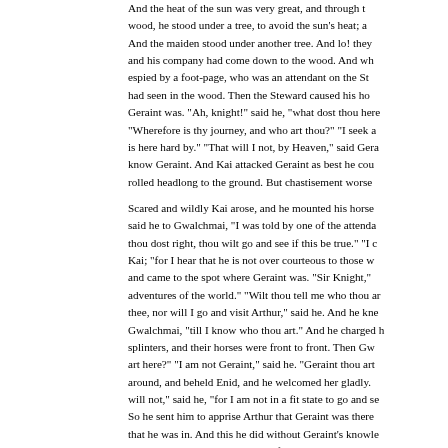And the heat of the sun was very great, and through the wood, he stood under a tree, to avoid the sun's heat; and And the maiden stood under another tree. And lo! they and his company had come down to the wood. And wh espied by a foot-page, who was an attendant on the St had seen in the wood. Then the Steward caused his ho Geraint was. "Ah, knight!" said he, "what dost thou here "Wherefore is thy journey, and who art thou?" "I seek a is here hard by." "That will I not, by Heaven," said Gera know Geraint. And Kai attacked Geraint as best he cou rolled headlong to the ground. But chastisement worse
Scared and wildly Kai arose, and he mounted his horse said he to Gwalchmai, "I was told by one of the attenda thou dost right, thou wilt go and see if this be true." "I c Kai; "for I hear that he is not over courteous to those w and came to the spot where Geraint was. "Sir Knight," adventures of the world." "Wilt thou tell me who thou ar thee, nor will I go and visit Arthur," said he. And he kne Gwalchmai, "till I know who thou art." And he charged h splinters, and their horses were front to front. Then Gw art here?" "I am not Geraint," said he. "Geraint thou art around, and beheld Enid, and he welcomed her gladly. will not," said he, "for I am not in a fit state to go and se So he sent him to apprise Arthur that Geraint was there that he was in. And this he did without Geraint's knowle his tent brought near to the road, for he will not meet hi Arthur, and told him this. And he caused his tent to be r led Geraint onwards along the road, till they came to th roadside. "Lord," said Geraint, "all hail unto thee." "Hea his care from will and bleat to sent to and the will b